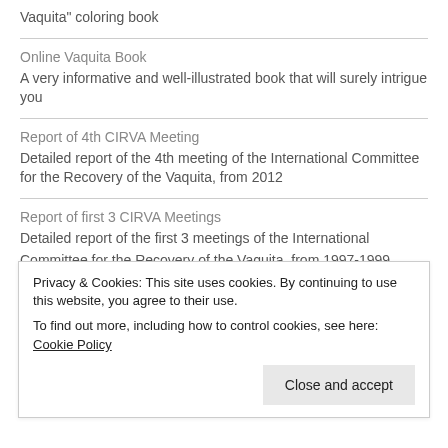Vaquita" coloring book
Online Vaquita Book
A very informative and well-illustrated book that will surely intrigue you
Report of 4th CIRVA Meeting
Detailed report of the 4th meeting of the International Committee for the Recovery of the Vaquita, from 2012
Report of first 3 CIRVA Meetings
Detailed report of the first 3 meetings of the International Committee for the Recovery of the Vaquita, from 1997-1999
Privacy & Cookies: This site uses cookies. By continuing to use this website, you agree to their use.
To find out more, including how to control cookies, see here: Cookie Policy